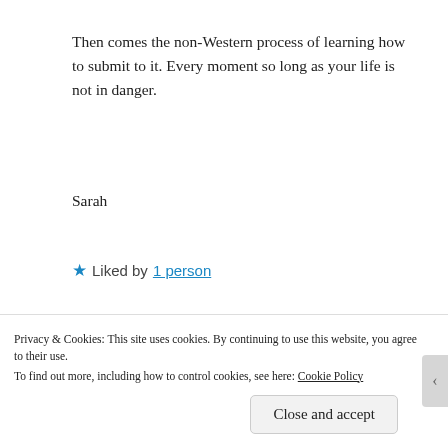Then comes the non-Western process of learning how to submit to it. Every moment so long as your life is not in danger.
Sarah
★ Liked by 1 person
REPLY
[Figure (photo): Avatar photo of commenter argyris446 showing two people]
argyris446
Privacy & Cookies: This site uses cookies. By continuing to use this website, you agree to their use. To find out more, including how to control cookies, see here: Cookie Policy
Close and accept